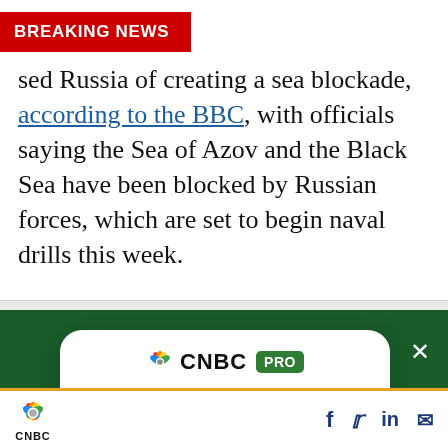BREAKING NEWS
sed Russia of creating a sea blockade, according to the BBC, with officials saying the Sea of Azov and the Black Sea have been blocked by Russian forces, which are set to begin naval drills this week.
[Figure (screenshot): CNBC PRO modal advertisement overlay on dark green background with text: 'These are Wall Street’s favorite stocks, and where analysts think they’re going' and a SUBSCRIBE NOW button]
CNBC logo and social media icons (Facebook, Twitter, LinkedIn, Email)